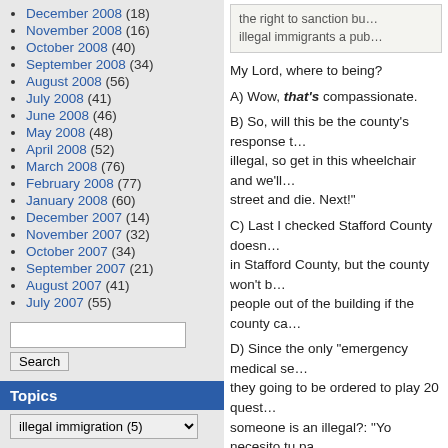December 2008 (18)
November 2008 (16)
October 2008 (40)
September 2008 (34)
August 2008 (56)
July 2008 (41)
June 2008 (46)
May 2008 (48)
April 2008 (52)
March 2008 (76)
February 2008 (77)
January 2008 (60)
December 2007 (14)
November 2007 (32)
October 2007 (34)
September 2007 (21)
August 2007 (41)
July 2007 (55)
Search
Topics
illegal immigration  (5)
the right to sanction bu... illegal immigrants a pub...
My Lord, where to being?
A) Wow, that's compassionate.
B) So, will this be the county's response to... illegal, so get in this wheelchair and we'll... street and die. Next!
C) Last I checked Stafford County doesn... in Stafford County, but the county won't b... people out of the building if the county ca...
D) Since the only "emergency medical se... they going to be ordered to play 20 quest... someone is an illegal?: "Yo necesito tu pa... they going to deny them transport to a ho...
E) See A.
[Figure (other): Partial quote box with large quotation marks and [...] text]